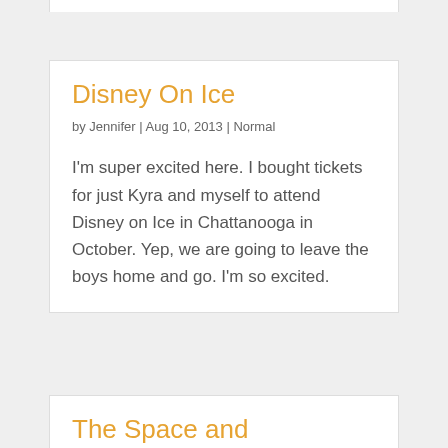Disney On Ice
by Jennifer | Aug 10, 2013 | Normal
I'm super excited here. I bought tickets for just Kyra and myself to attend Disney on Ice in Chattanooga in October. Yep, we are going to leave the boys home and go. I'm so excited.
The Space and